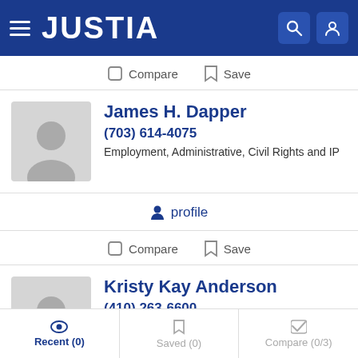JUSTIA
Compare  Save
James H. Dapper
(703) 614-4075
Employment, Administrative, Civil Rights and IP
profile
Compare  Save
Kristy Kay Anderson
(410) 263-6600
Employment
Recent (0)  Saved (0)  Compare (0/3)